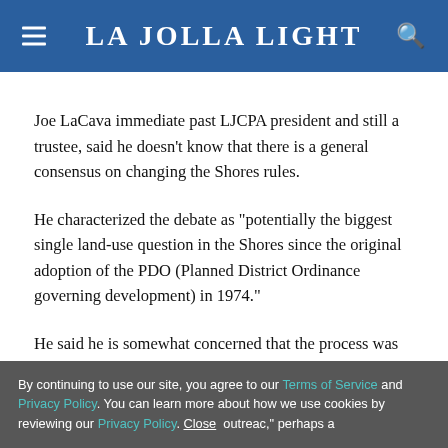La Jolla Light
Joe LaCava immediate past LJCPA president and still a trustee, said he doesn’t know that there is a general consensus on changing the Shores rules.
He characterized the debate as “potentially the biggest single land-use question in the Shores since the original adoption of the PDO (Planned District Ordinance governing development) in 1974.”
He said he is somewhat concerned that the process was ... outreac,” perhaps a
By continuing to use our site, you agree to our Terms of Service and Privacy Policy. You can learn more about how we use cookies by reviewing our Privacy Policy. Close